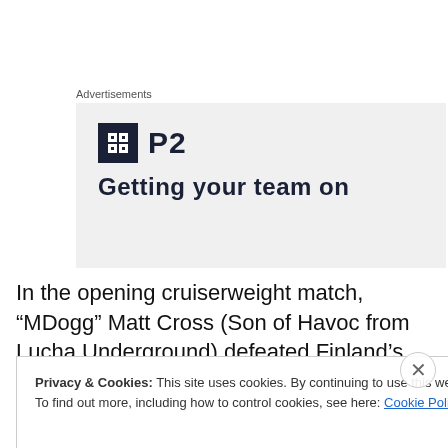Advertisements
[Figure (logo): Advertisement banner showing a dark square logo with a grid-of-squares icon and 'P2' text, followed by partial text 'Getting your team on' below]
In the opening cruiserweight match, “MDogg” Matt Cross (Son of Havoc from Lucha Underground) defeated Finland’s “Luchadore of Lapland” Jami Aalto in 7:49 following a picture-perfect Shooting Star Press off the top
Privacy & Cookies: This site uses cookies. By continuing to use this website, you agree to their use.
To find out more, including how to control cookies, see here: Cookie Policy